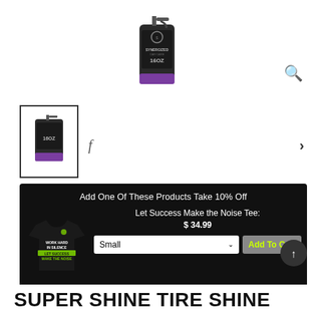[Figure (photo): Product bottle - Synergized Car Care 16oz spray bottle with purple cap, partially visible at top of page]
[Figure (photo): Thumbnail of Synergized spray bottle with black border]
f
[Figure (infographic): Promotional banner with black background showing 'Add One Of These Products Take 10% Off' with a black t-shirt (Let Success Make the Noise Tee) and Add To Cart button]
Add One Of These Products Take 10% Off
Let Success Make the Noise Tee: $ 34.99
SUPER SHINE TIRE SHINE